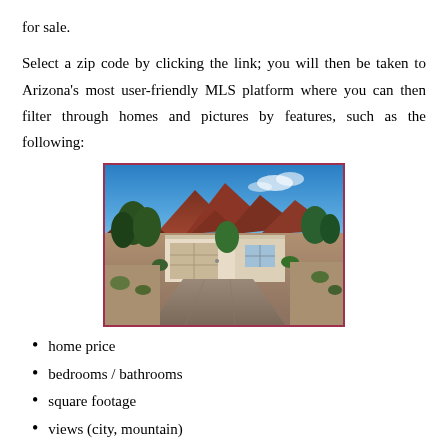for sale.
Select a zip code by clicking the link; you will then be taken to Arizona's most user-friendly MLS platform where you can then filter through homes and pictures by features, such as the following:
[Figure (photo): Exterior photo of a single-story Southwest-style home with a two-car garage, desert landscaping, and red mountain cliffs in the background under a blue sky with clouds.]
home price
bedrooms / bathrooms
square footage
views (city, mountain)